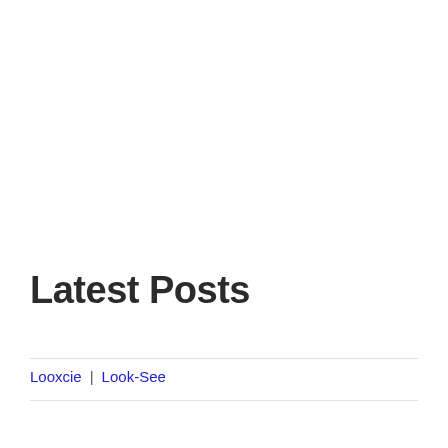Latest Posts
Looxcie | Look-See